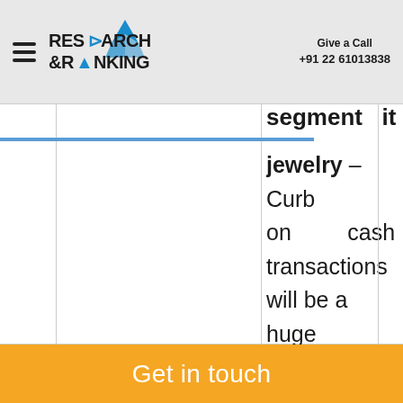Research & Ranking | Give a Call +91 22 61013838
|  |  |  | segment... jewelry – Curb on cash transactions will be a huge positive for the organized players. |
jewelry – Curb on cash transactions will be a huge positive for the organized players.
Get in touch